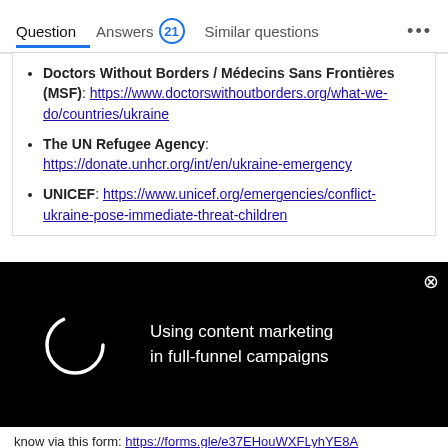Question   Answers 21   Similar questions   ...
Doctors Without Borders / Médecins Sans Frontières (MSF): https://www.doctorswithoutborders.org/what-we-do/countries/ukraine
The UN Refugee Agency: https://donate.unhcr.org/int/en/ukraine-emergency
UNICEF: https://www.unicef.org/emergencies/conflict-ukraine-pose-immediate-threat-children
[Figure (screenshot): Black overlay ad with loading spinner on left and text 'Using content marketing in full-funnel campaigns' on right with close button (X)]
know via this form: https://forms.gle/e37EHouWXFLyhYE8A
-Ijad Madisch, CEO & Co-Founder of ResearchGate
-----